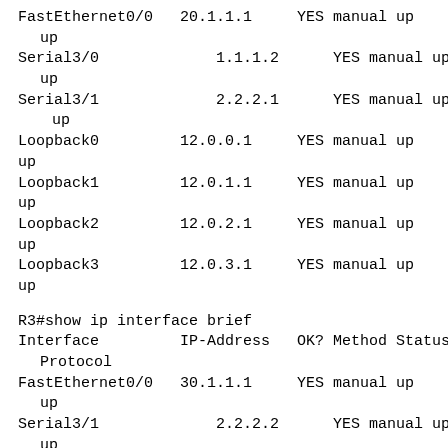FastEthernet0/0   20.1.1.1     YES manual up
  up
Serial3/0         1.1.1.2      YES manual up
  up
Serial3/1         2.2.2.1      YES manual up
    up
Loopback0         12.0.0.1     YES manual up
up
Loopback1         12.0.1.1     YES manual up
up
Loopback2         12.0.2.1     YES manual up
up
Loopback3         12.0.3.1     YES manual up
up
R3#show ip interface brief
Interface         IP-Address   OK? Method Status
  Protocol
FastEthernet0/0   30.1.1.1     YES manual up
  up
Serial3/1         2.2.2.2      YES manual up
  up